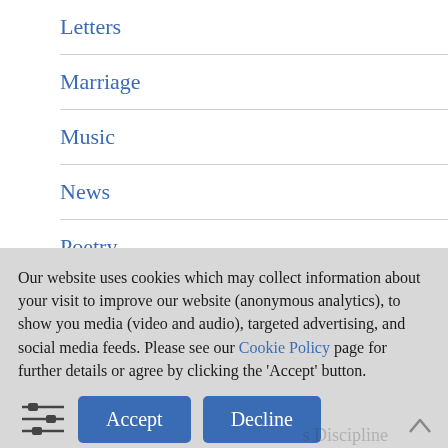Letters
Marriage
Music
News
Poetry
Regency England
Our website uses cookies which may collect information about your visit to improve our website (anonymous analytics), to show you media (video and audio), targeted advertising, and social media feeds. Please see our Cookie Policy page for further details or agree by clicking the 'Accept' button.